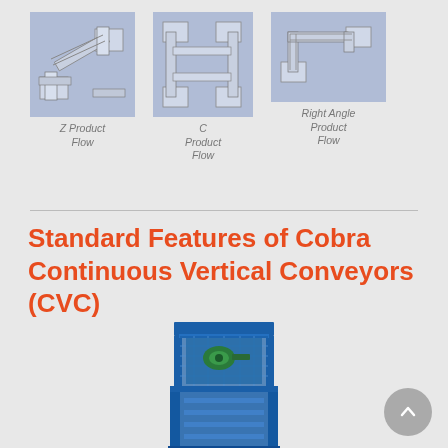[Figure (illustration): Three small diagrams of conveyor product flow types: Z Product Flow, C Product Flow, Right Angle Product Flow, each shown as a small schematic on a blue-grey background]
Z Product Flow
C Product Flow
Right Angle Product Flow
Standard Features of Cobra Continuous Vertical Conveyors (CVC)
[Figure (illustration): 3D rendered image of a blue Cobra Continuous Vertical Conveyor (CVC) machine, showing the internal mechanism with green motor/drive components visible through open frame structure]